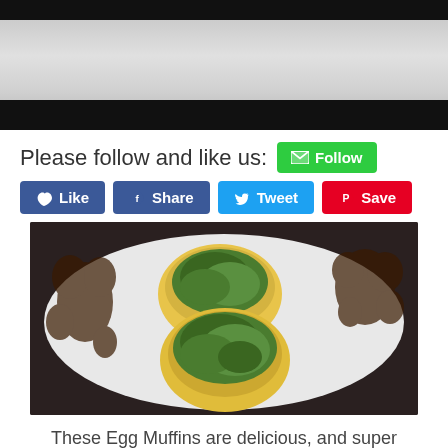[Figure (photo): Top portion of a food photo on a decorative plate, dark background, partially cropped]
Please follow and like us:
[Figure (screenshot): Social media buttons: Follow (green), Like (blue), Share (Facebook blue), Tweet (Twitter blue), Save (Pinterest red)]
[Figure (photo): Two egg muffins topped with sautéed spinach served on a white decorative plate with dark floral pattern, on a dark surface]
These Egg Muffins are delicious, and super easy to make! Someone shared this recipe with me today, and I didn't have all of the